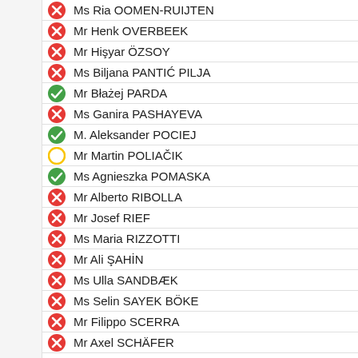Ms Ria OOMEN-RUIJTEN
Mr Henk OVERBEEK
Mr Hişyar ÖZSOY
Ms Biljana PANTIĆ PILJA
Mr Błażej PARDA
Ms Ganira PASHAYEVA
M. Aleksander POCIEJ
Mr Martin POLIAČIK
Ms Agnieszka POMASKA
Mr Alberto RIBOLLA
Mr Josef RIEF
Ms Maria RIZZOTTI
Mr Ali ŞAHİN
Ms Ulla SANDBÆK
Ms Selin SAYEK BÖKE
Mr Filippo SCERRA
Mr Axel SCHÄFER